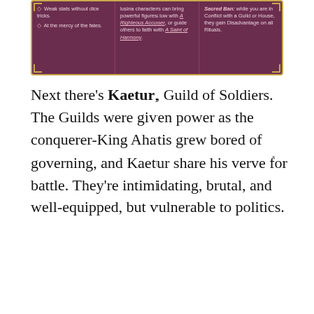[Figure (illustration): Top portion of a fantasy game card with dark crimson/purple background divided into three columns. Left column: bullet points reading 'Weak stats without dice tricks.' and 'At the mercy of the fates.' Middle column: text about Lusina characters bringing powerful figures low with 'A Righteous Accuser', or guiding others to faith with 'A Saint of Harmony.' Right column: 'Sacred Ban: while you are in Conflict with a Guild or House, they gain Disadvantage on all Rituals.' Gold decorative corner elements visible.]
Next there’s Kaetur, Guild of Soldiers. The Guilds were given power as the conquerer-King Ahatis grew bored of governing, and Kaetur share his verve for battle. They’re intimidating, brutal, and well-equipped, but vulnerable to politics.
[Figure (illustration): Fantasy game card illustration for 'Kaetur, Guild of Soldiers'. Dark moody artwork showing a large shadowy figure with horns on the left side, a glowing geometric/runic symbol (diamond and Y shape in a circle) in the center-middle, and a woman in red dress standing by a gnarled red-glowing tree on the right. Banner at the bottom reads 'KAETUR, GUILD OF SOLDIERS' in gold letters on crimson background with decorative side elements.]